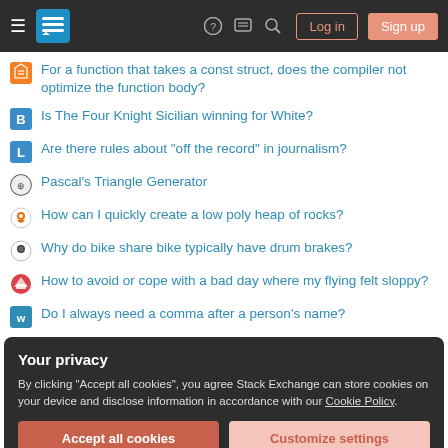Stack Exchange navigation bar with hamburger menu, logo, help, comments, search icons, Log in and Sign up buttons
For a function that takes a const struct, does the compiler not optimize the function body?
Is The Four Knight Sicilian winning for White?
Are there rules about "off the record" in journalism?
Pascal's Triangle Generator
How can I quickly create a low poly heap of rocks?
Why do bike share bike typically have drum brakes?
How to avoid or cope with a bad day where my flying felt sloppy?
Do I always need a comma after a person's name?
Your privacy
By clicking "Accept all cookies", you agree Stack Exchange can store cookies on your device and disclose information in accordance with our Cookie Policy.
Accept all cookies | Customize settings
What is the glyph origin of 匕 (the radical in 匕)?